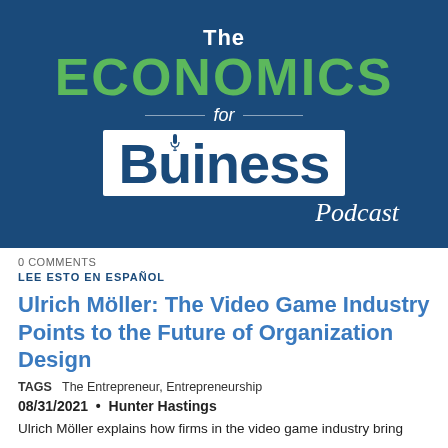[Figure (logo): The Economics for Business Podcast logo — dark blue background, green ECONOMICS text, white Business in a white box, white Podcast in italic script]
0 COMMENTS
LEE ESTO EN ESPAÑOL
Ulrich Möller: The Video Game Industry Points to the Future of Organization Design
TAGS  The Entrepreneur, Entrepreneurship
08/31/2021  •  Hunter Hastings
Ulrich Möller explains how firms in the video game industry bring